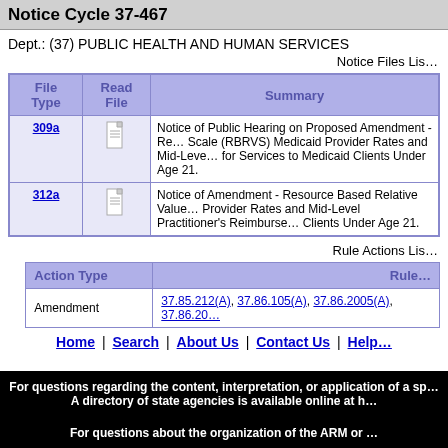Notice Cycle 37-467
Dept.: (37) PUBLIC HEALTH AND HUMAN SERVICES
Notice Files Lis...
| File Type | Read File | Summary |
| --- | --- | --- |
| 309a | [doc icon] | Notice of Public Hearing on Proposed Amendment - Resource Based Relative Value Scale (RBRVS) Medicaid Provider Rates and Mid-Level Practitioner's Reimbursement for Services to Medicaid Clients Under Age 21. |
| 312a | [doc icon] | Notice of Amendment - Resource Based Relative Value Provider Rates and Mid-Level Practitioner's Reimbursement for Services to Medicaid Clients Under Age 21. |
Rule Actions Lis...
| Action Type | Rule... |
| --- | --- |
| Amendment | 37.85.212(A), 37.86.105(A), 37.86.2005(A), 37.86.20... |
Home | Search | About Us | Contact Us | Help
For questions regarding the content, interpretation, or application of a sp... A directory of state agencies is available online at h...

For questions about the organization of the ARM or ...